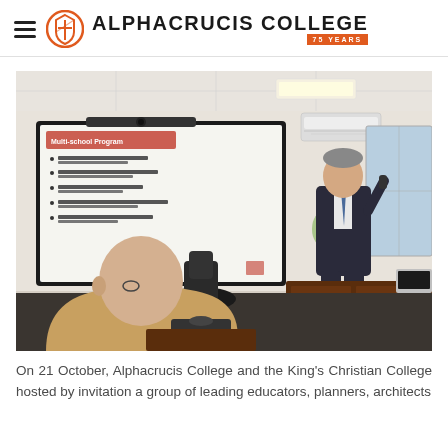ALPHACRUCIS COLLEGE — 75 YEARS
[Figure (photo): A man in a dark suit stands at the front of a meeting room holding a remote, pointing toward a large wall-mounted screen displaying a PowerPoint slide titled 'Multi-school Program'. Another person sits with their back to the camera viewing the presentation. A laptop, conference phone, and office chairs are visible.]
On 21 October, Alphacrucis College and the King's Christian College hosted by invitation a group of leading educators, planners, architects